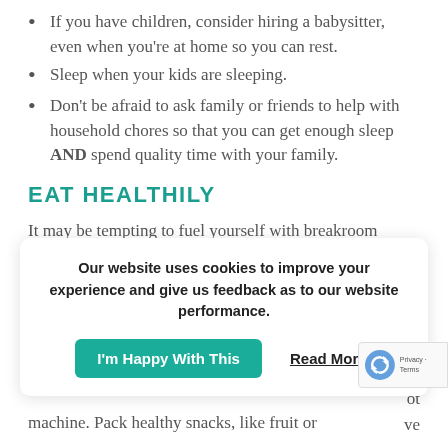If you have children, consider hiring a babysitter, even when you're at home so you can rest.
Sleep when your kids are sleeping.
Don't be afraid to ask family or friends to help with household chores so that you can get enough sleep AND spend quality time with your family.
EAT HEALTHILY
It may be tempting to fuel yourself with breakroom brownies, but sugar- and simple carb-laden goodies will only lead to a crash later. To be at your best at work and home, be intentional in your food choices and in planning your meals.
Our website uses cookies to improve your experience and give us feedback as to our website performance.
machine. Pack healthy snacks, like fruit or